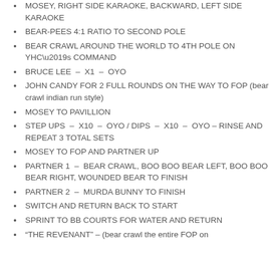MOSEY, RIGHT SIDE KARAOKE, BACKWARD, LEFT SIDE KARAOKE
BEAR-PEES 4:1 RATIO TO SECOND POLE
BEAR CRAWL AROUND THE WORLD TO 4TH POLE ON YHC’s COMMAND
BRUCE LEE – X1 – OYO
JOHN CANDY FOR 2 FULL ROUNDS ON THE WAY TO FOP (bear crawl indian run style)
MOSEY TO PAVILLION
STEP UPS – X10 – OYO / DIPS – X10 – OYO – RINSE AND REPEAT 3 TOTAL SETS
MOSEY TO FOP AND PARTNER UP
PARTNER 1 – BEAR CRAWL, BOO BOO BEAR LEFT, BOO BOO BEAR RIGHT, WOUNDED BEAR TO FINISH
PARTNER 2 – MURDA BUNNY TO FINISH
SWITCH AND RETURN BACK TO START
SPRINT TO BB COURTS FOR WATER AND RETURN
“THE REVENANT” – (bear crawl the entire FOP on